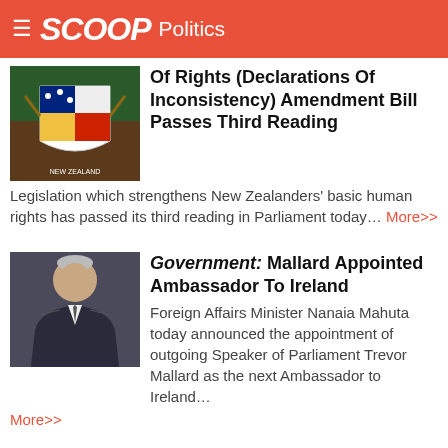SCOOP Politics
Of Rights (Declarations Of Inconsistency) Amendment Bill Passes Third Reading
Legislation which strengthens New Zealanders' basic human rights has passed its third reading in Parliament today... More>>
Government: Mallard Appointed Ambassador To Ireland
Foreign Affairs Minister Nanaia Mahuta today announced the appointment of outgoing Speaker of Parliament Trevor Mallard as the next Ambassador to Ireland... More>>
Labour: Gaurav Sharma Expelled From Caucus
The Labour Caucus has voted to expel Dr Gaurav Sharma from caucus, effectively immediately. The Caucus also voted to refer the matter to the New Zealand Council of